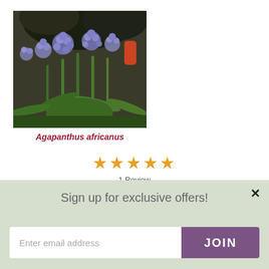[Figure (photo): Photograph of Agapanthus africanus plant with purple-blue flowers and green leaves in a garden setting]
Agapanthus africanus
[Figure (other): 5 gold/orange star rating icons]
1 Review
Sign up for exclusive offers!
Enter email address
JOIN